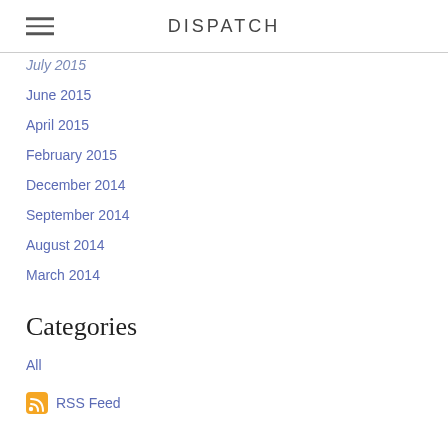DISPATCH
July 2015
June 2015
April 2015
February 2015
December 2014
September 2014
August 2014
March 2014
Categories
All
RSS Feed